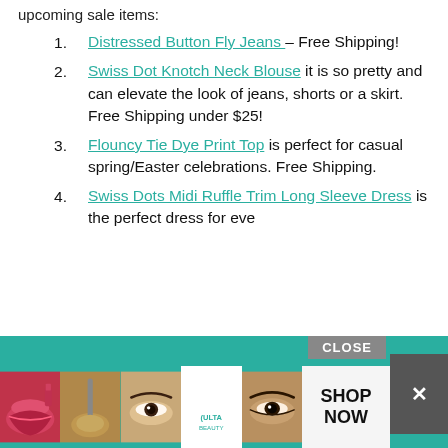upcoming sale items:
Distressed Button Fly Jeans – Free Shipping!
Swiss Dot Knotch Neck Blouse it is so pretty and can elevate the look of jeans, shorts or a skirt. Free Shipping under $25!
Flouncy Tie Dye Print Top is perfect for casual spring/Easter celebrations. Free Shipping.
Swiss Dots Midi Ruffle Trim Long Sleeve Dress is the perfect dress for...
[Figure (advertisement): Ulta Beauty advertisement banner with makeup imagery and SHOP NOW button]